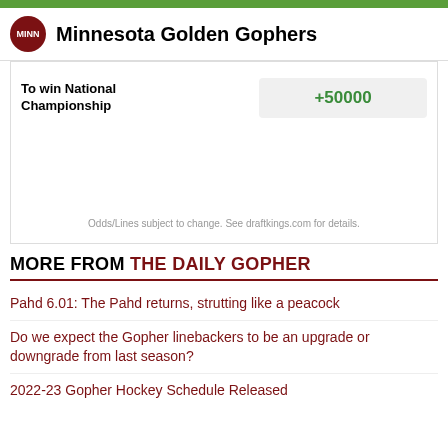Minnesota Golden Gophers
| To win National Championship | Odds |
| --- | --- |
| To win National Championship | +50000 |
Odds/Lines subject to change. See draftkings.com for details.
MORE FROM THE DAILY GOPHER
Pahd 6.01: The Pahd returns, strutting like a peacock
Do we expect the Gopher linebackers to be an upgrade or downgrade from last season?
2022-23 Gopher Hockey Schedule Released